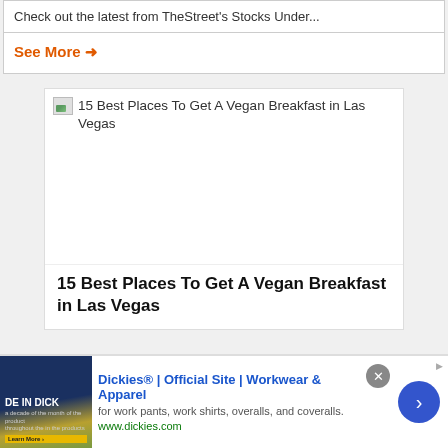Check out the latest from TheStreet's Stocks Under...
See More →
[Figure (illustration): Article card with broken image icon and title '15 Best Places To Get A Vegan Breakfast in Las Vegas', with bold article title below]
[Figure (illustration): Advertisement banner for Dickies® Official Site - Workwear & Apparel, showing product image on left, ad text in middle, close button and navigation arrow on right]